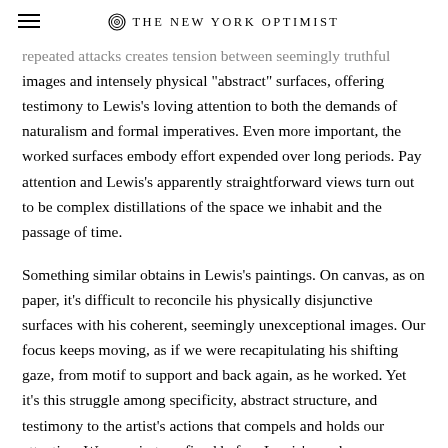THE NEW YORK OPTIMIST
repeated attacks creates tension between seemingly truthful images and intensely physical "abstract" surfaces, offering testimony to Lewis's loving attention to both the demands of naturalism and formal imperatives. Even more important, the worked surfaces embody effort expended over long periods. Pay attention and Lewis's apparently straightforward views turn out to be complex distillations of the space we inhabit and the passage of time.
Something similar obtains in Lewis's paintings. On canvas, as on paper, it's difficult to reconcile his physically disjunctive surfaces with his coherent, seemingly unexceptional images. Our focus keeps moving, as if we were recapitulating his shifting gaze, from motif to support and back again, as he worked. Yet it's this struggle among specificity, abstract structure, and testimony to the artist's actions that compels and holds our attention. We remain transfixed before Lewis's works, sandbagged by their strange ordinariness"